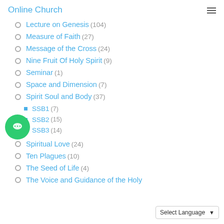Online Church
Lecture on Genesis (104)
Measure of Faith (27)
Message of the Cross (24)
Nine Fruit Of Holy Spirit (9)
Seminar (1)
Space and Dimension (7)
Spirit Soul and Body (37)
SSB1 (7)
SSB2 (15)
SSB3 (14)
Spiritual Love (24)
Ten Plagues (10)
The Seed of Life (4)
The Voice and Guidance of the Holy